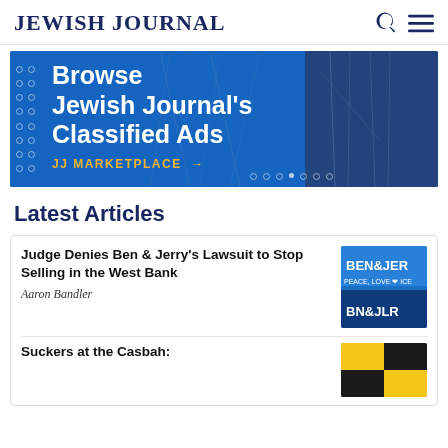JEWISH JOURNAL
[Figure (infographic): Banner advertisement: Browse Jewish Journal's Classified Ads – JJ MARKETPLACE →]
Latest Articles
Judge Denies Ben & Jerry's Lawsuit to Stop Selling in the West Bank
Aaron Bandler
Suckers at the Casbah: